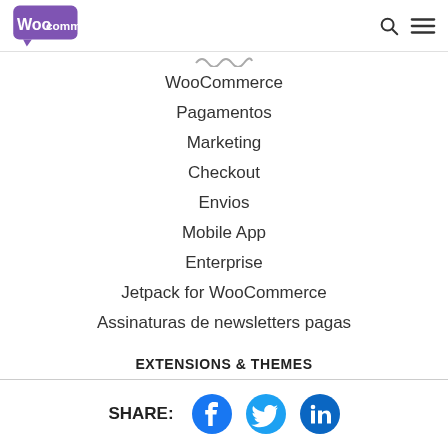WooCommerce [logo] [search icon] [menu icon]
~~~~
WooCommerce
Pagamentos
Marketing
Checkout
Envios
Mobile App
Enterprise
Jetpack for WooCommerce
Assinaturas de newsletters pagas
EXTENSIONS & THEMES
SHARE: [Facebook] [Twitter] [LinkedIn]